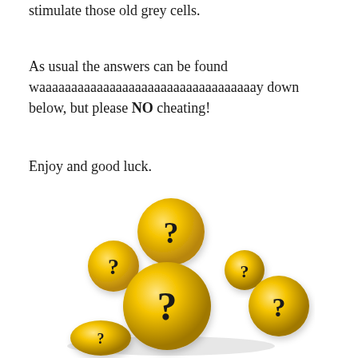stimulate those old grey cells.
As usual the answers can be found waaaaaaaaaaaaaaaaaaaaaaaaaaaaaaaaaay down below, but please NO cheating!
Enjoy and good luck.
[Figure (illustration): Several shiny golden yellow balls with black question marks on them, arranged in a cluster on a white surface.]